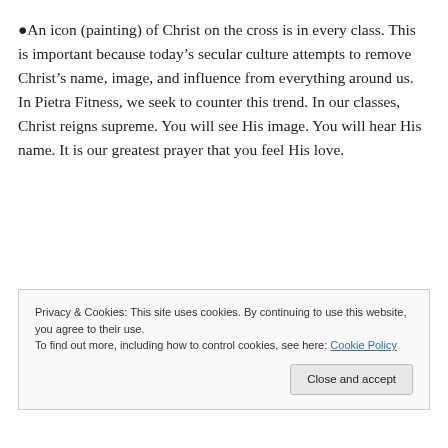●An icon (painting) of Christ on the cross is in every class. This is important because today’s secular culture attempts to remove Christ’s name, image, and influence from everything around us. In Pietra Fitness, we seek to counter this trend. In our classes, Christ reigns supreme. You will see His image. You will hear His name. It is our greatest prayer that you feel His love.
Privacy & Cookies: This site uses cookies. By continuing to use this website, you agree to their use. To find out more, including how to control cookies, see here: Cookie Policy